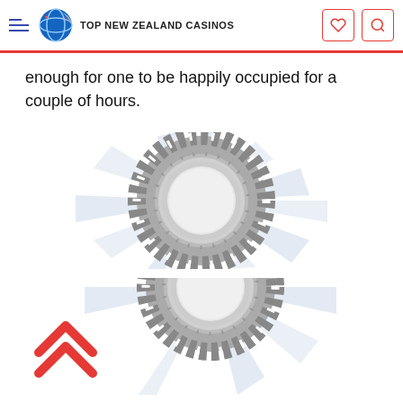TOP NEW ZEALAND CASINOS
enough for one to be happily occupied for a couple of hours.
[Figure (illustration): A gray casino chip with white markings on a light blue/white starburst background]
[Figure (illustration): A second gray casino chip (partially visible) with white markings on a light blue/white starburst background, with a red double-chevron up arrow on the left]